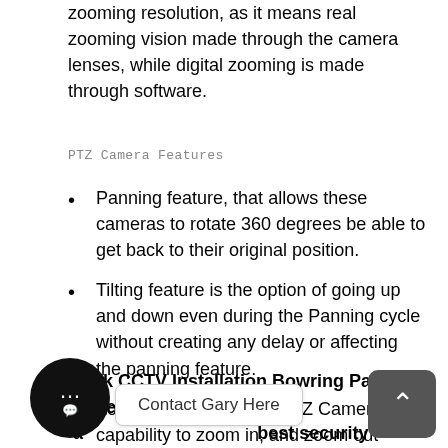zooming resolution, as it means real zooming vision made through the camera lenses, while digital zooming is made through software.
PTZ Camera Features
Panning feature, that allows these cameras to rotate 360 degrees be able to get back to their original position.
Tilting feature is the option of going up and down even during the Panning cycle without creating any delay or affecting the panning feature.
Zooming will give your PTZ Camera the capability to zoom in, and zoom out objects
Book CCTV Installation Bowring Park for a free ... best security advice ...